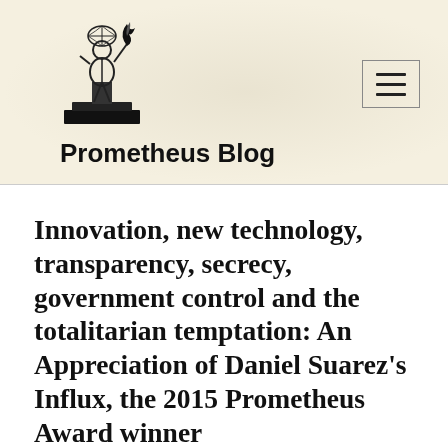[Figure (logo): Prometheus figure logo — a human figure holding a flame atop a pedestal, rendered as black line art on cream background]
Prometheus Blog
Innovation, new technology, transparency, secrecy, government control and the totalitarian temptation: An Appreciation of Daniel Suarez's Influx, the 2015 Prometheus Award winner for Best Novel